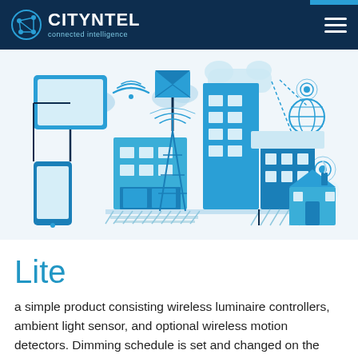CITYNTEL connected intelligence
[Figure (illustration): Smart city illustration showing connected buildings, a mobile phone, a tablet, a wireless tower, clouds, signal icons, a globe icon, and a house, all in shades of blue on a light background, representing IoT and connected intelligence.]
Lite
a simple product consisting wireless luminaire controllers, ambient light sensor, and optional wireless motion detectors. Dimming schedule is set and changed on the installation site with a wireless handheld device.